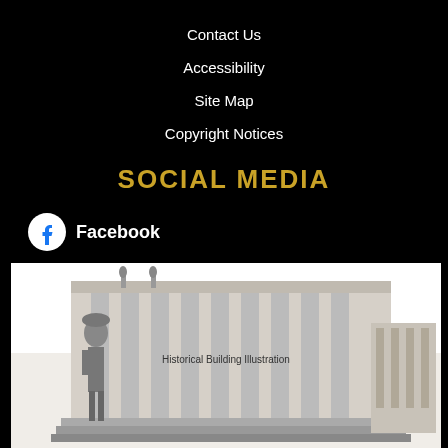Contact Us
Accessibility
Site Map
Copyright Notices
SOCIAL MEDIA
Facebook
[Figure (illustration): Black and white illustration of a soldier or guard in uniform and pith helmet standing in front of a large neoclassical building with columns]